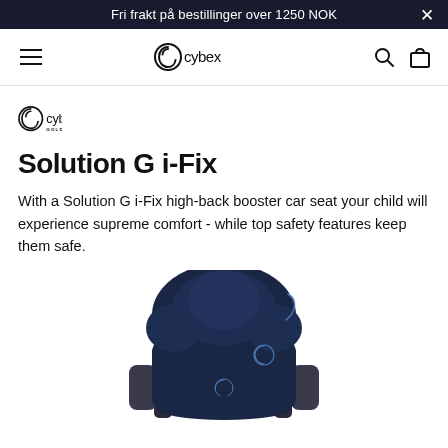Fri frakt på bestillinger over 1250 NOK
[Figure (logo): Cybex navigation bar with hamburger menu, cybex logo, search icon, and bag icon]
[Figure (logo): Cybex Gold brand logo]
Solution G i-Fix
With a Solution G i-Fix high-back booster car seat your child will experience supreme comfort - while top safety features keep them safe.
[Figure (photo): Navy blue Cybex Solution G i-Fix high-back booster car seat product photo]